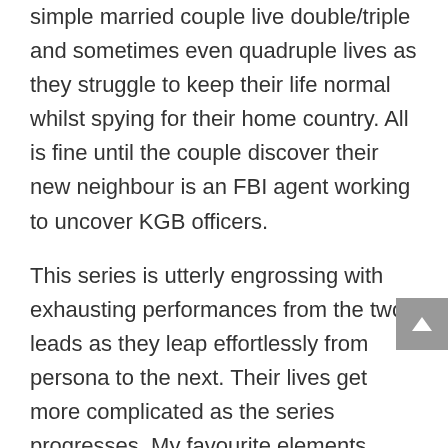simple married couple live double/triple and sometimes even quadruple lives as they struggle to keep their life normal whilst spying for their home country. All is fine until the couple discover their new neighbour is an FBI agent working to uncover KGB officers.
This series is utterly engrossing with exhausting performances from the two leads as they leap effortlessly from persona to the next. Their lives get more complicated as the series progresses. My favourite elements include the fascinating relationship between Philip and Elizabeth, and what happens when their teenage daughter Paige grows more curious of where her parents disappear to in the dead of night. Each performance is flawless and the series feels in safe signs, with relateable  characters and careful plotting. Despite winning numerous awards in the US and critical acclaim, the series has never